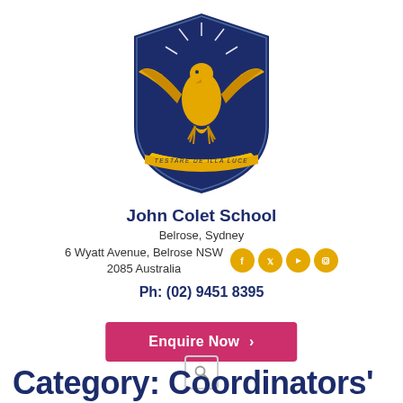[Figure (logo): John Colet School crest with eagle and motto 'Testare De Illa Luce' on blue shield with gold banner]
John Colet School
Belrose, Sydney
6 Wyatt Avenue, Belrose NSW 2085 Australia
Ph: (02) 9451 8395
Enquire Now >
Category: Coordinators'